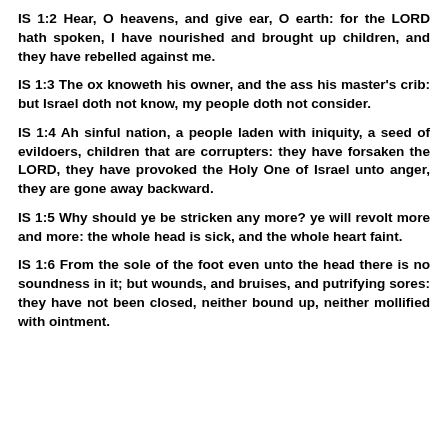IS 1:2 Hear, O heavens, and give ear, O earth: for the LORD hath spoken, I have nourished and brought up children, and they have rebelled against me.
IS 1:3 The ox knoweth his owner, and the ass his master's crib: but Israel doth not know, my people doth not consider.
IS 1:4 Ah sinful nation, a people laden with iniquity, a seed of evildoers, children that are corrupters: they have forsaken the LORD, they have provoked the Holy One of Israel unto anger, they are gone away backward.
IS 1:5 Why should ye be stricken any more? ye will revolt more and more: the whole head is sick, and the whole heart faint.
IS 1:6 From the sole of the foot even unto the head there is no soundness in it; but wounds, and bruises, and putrifying sores: they have not been closed, neither bound up, neither mollified with ointment.